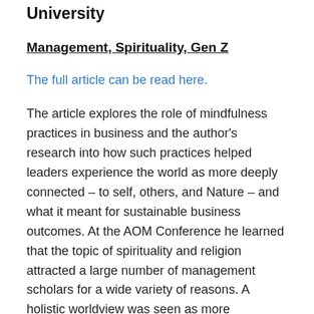University
Management, Spirituality, Gen Z
The full article can be read here.
The article explores the role of mindfulness practices in business and the author's research into how such practices helped leaders experience the world as more deeply connected – to self, others, and Nature – and what it meant for sustainable business outcomes. At the AOM Conference he learned that the topic of spirituality and religion attracted a large number of management scholars for a wide variety of reasons. A holistic worldview was seen as more